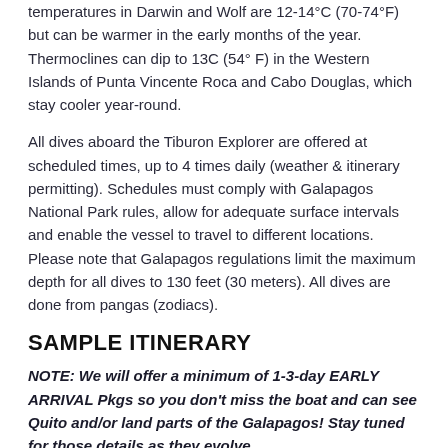temperatures in Darwin and Wolf are 12-14°C (70-74°F) but can be warmer in the early months of the year. Thermoclines can dip to 13C (54° F) in the Western Islands of Punta Vincente Roca and Cabo Douglas, which stay cooler year-round.
All dives aboard the Tiburon Explorer are offered at scheduled times, up to 4 times daily (weather & itinerary permitting). Schedules must comply with Galapagos National Park rules, allow for adequate surface intervals and enable the vessel to travel to different locations. Please note that Galapagos regulations limit the maximum depth for all dives to 130 feet (30 meters). All dives are done from pangas (zodiacs).
SAMPLE ITINERARY
NOTE: We will offer a minimum of 1-3-day EARLY ARRIVAL Pkgs so you don't miss the boat and can see Quito and/or land parts of the Galapagos! Stay tuned for those details as they evolve.
Saturday: Baltra (1 Check Out Dive at Punta Carrion) Guests fly to the Galapagos Islands from Mainland Ecuador, arriving in the late morning. The dive guides will meet the guests at the airport between 11:30 am and 12 pm and escort them to